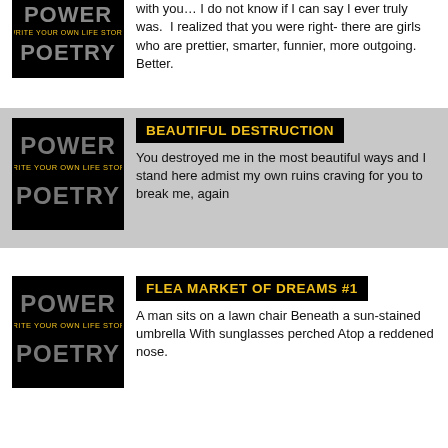[Figure (logo): Power Poetry logo - black background with stylized text]
with you… I do not know if I can say I ever truly was.  I realized that you were right- there are girls who are prettier, smarter, funnier, more outgoing. Better.
[Figure (logo): Power Poetry logo - black background with stylized text]
BEAUTIFUL DESTRUCTION
You destroyed me in the most beautiful ways and I stand here admist my own ruins craving for you to break me, again
[Figure (logo): Power Poetry logo - black background with stylized text]
FLEA MARKET OF DREAMS #1
A man sits on a lawn chair Beneath a sun-stained umbrella With sunglasses perched Atop a reddened nose.